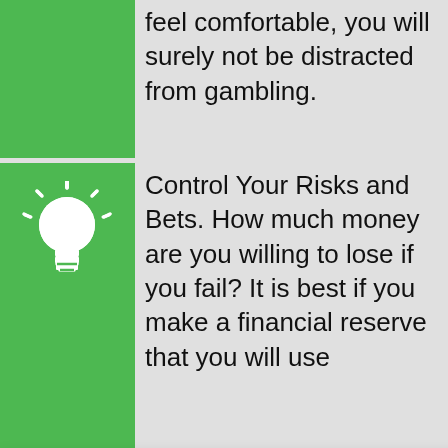professional dealer. Only when you feel comfortable, you will surely not be distracted from gambling.
Control Your Risks and Bets. How much money are you willing to lose if you fail? It is best if you make a financial reserve that you will use [for] your [games, and] pause […] You [have a] limit. [You may] play, and [play] games. [… in the …] pause
[Figure (screenshot): Cookie consent popup overlay with cookie icon, title 'Cookies', close button (×), description text 'By using bestonlinecasinosincanada.com you agree to the use of cookies.', an 'info' link, and an 'OK' green button.]